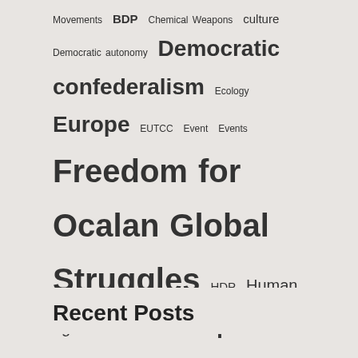Movements BDP Chemical Weapons culture Democratic autonomy Democratic confederalism Ecology Europe EUTCC Event Events Freedom for Ocalan Global Struggles HDP Human rights Interview Iraq ISIS KCK Kobane Lawyers Legal Ocalan peace process PKK political prisoners PYD Regions of Kurdistan Rojava Self-determination Self-Determination Interview Series South Kurdistan Statements Syria Trade Unions Turkey UK video War Crimes Weekly News Briefing Western Kurdistan Women
Recent Posts